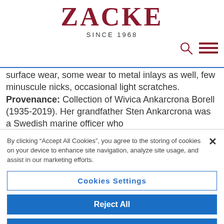ZACKE
SINCE 1968
surface wear, some wear to metal inlays as well, few minuscule nicks, occasional light scratches. Provenance: Collection of Wivica Ankarcrona Borell (1935-2019). Her grandfather Sten Ankarcrona was a Swedish marine officer who
By clicking “Accept All Cookies”, you agree to the storing of cookies on your device to enhance site navigation, analyze site usage, and assist in our marketing efforts.
Cookies Settings
Reject All
Accept All Cookies